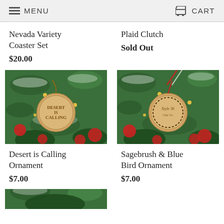MENU  CART
Nevada Variety Coaster Set
$20.00
Plaid Clutch
Sold Out
[Figure (photo): Christmas ornament on a snowy tree that says Desert is Calling]
[Figure (photo): Christmas ornament on a snowy tree that says Style 36]
Desert is Calling Ornament
$7.00
Sagebrush & Blue Bird Ornament
$7.00
[Figure (photo): Partial image of another product at the bottom of the page]